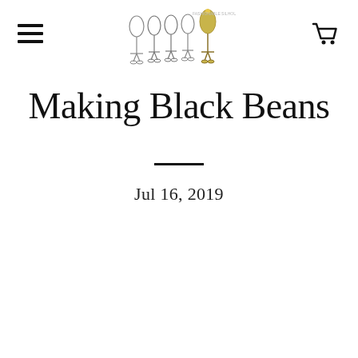Fashion blog header with logo (dress forms illustration) and navigation icons
Making Black Beans
Jul 16, 2019